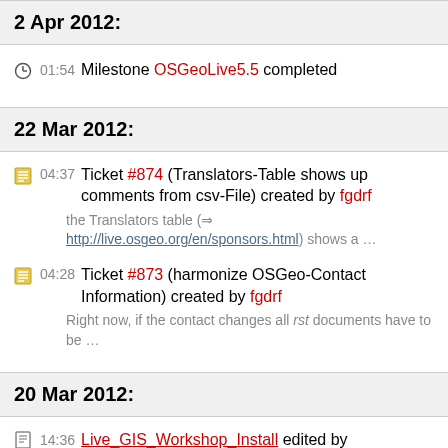2 Apr 2012:
01:54 Milestone OSGeoLive5.5 completed
22 Mar 2012:
04:37 Ticket #874 (Translators-Table shows up comments from csv-File) created by fgdrf — the Translators table (⇒ http://live.osgeo.org/en/sponsors.html) shows a …
04:28 Ticket #873 (harmonize OSGeo-Contact Information) created by fgdrf — Right now, if the contact changes all rst documents have to be …
20 Mar 2012:
14:36 Live_GIS_Workshop_Install edited by